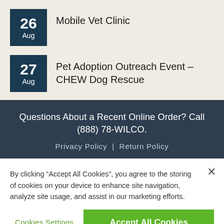26 Aug — Mobile Vet Clinic
27 Aug — Pet Adoption Outreach Event – CHEW Dog Rescue
Questions About a Recent Online Order? Call (888) 78-WILCO.
Privacy Policy | Return Policy
By clicking “Accept All Cookies”, you agree to the storing of cookies on your device to enhance site navigation, analyze site usage, and assist in our marketing efforts.
Cookies Settings
Accept All Cookies